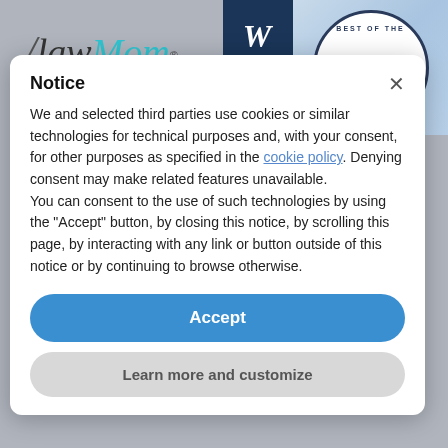[Figure (logo): LawMom cursive logo with slash mark before 'law' in dark gray and 'Mom' in teal/cyan color, with registered trademark symbol]
[Figure (logo): WIN magazine banner in dark navy blue with italic white letters W, I, N stacked vertically, next to a circular 'Best of the Boss 2021 Southmore' seal/badge on light blue background]
Notice
We and selected third parties use cookies or similar technologies for technical purposes and, with your consent, for other purposes as specified in the cookie policy. Denying consent may make related features unavailable.
You can consent to the use of such technologies by using the "Accept" button, by closing this notice, by scrolling this page, by interacting with any link or button outside of this notice or by continuing to browse otherwise.
Accept
Learn more and customize